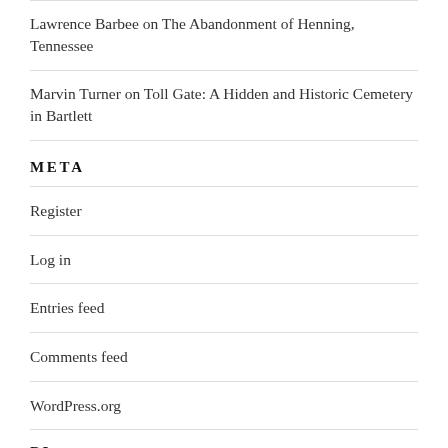Lawrence Barbee on The Abandonment of Henning, Tennessee
Marvin Turner on Toll Gate: A Hidden and Historic Cemetery in Bartlett
META
Register
Log in
Entries feed
Comments feed
WordPress.org
BLOGS